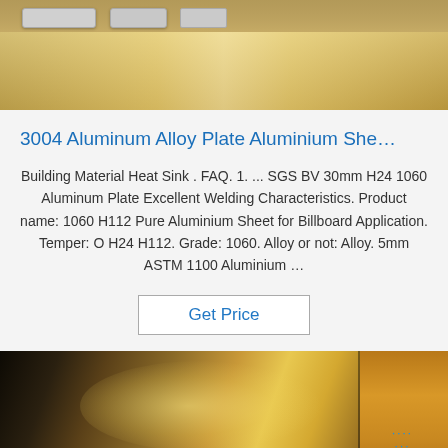[Figure (photo): Photo of cardboard boxes with metallic straps/packaging, top portion of product listing]
3004 Aluminum Alloy Plate Aluminium She…
Building Material Heat Sink . FAQ. 1. ... SGS BV 30mm H24 1060 Aluminum Plate Excellent Welding Characteristics. Product name: 1060 H112 Pure Aluminium Sheet for Billboard Application. Temper: O H24 H112. Grade: 1060. Alloy or not: Alloy. 5mm ASTM 1100 Aluminium …
Get Price
[Figure (photo): Photo of shiny aluminum/metal sheet with golden reflective surface; 'TOP' logo watermark visible in bottom right corner]